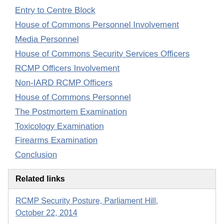Entry to Centre Block
House of Commons Personnel Involvement
Media Personnel
House of Commons Security Services Officers
RCMP Officers Involvement
Non-IARD RCMP Officers
House of Commons Personnel
The Postmortem Examination
Toxicology Examination
Firearms Examination
Conclusion
Related links
RCMP Security Posture, Parliament Hill, October 22, 2014
External Engagement and Coordination: Parliament Hill Incident on October 22nd, 2014 - After Action Review